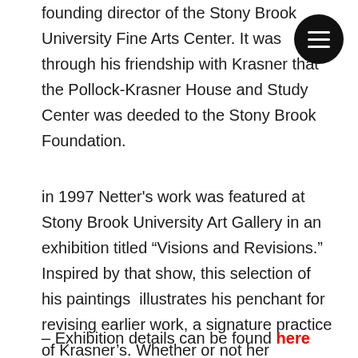founding director of the Stony Brook University Fine Arts Center. It was through his friendship with Krasner that the Pollock-Krasner House and Study Center was deeded to the Stony Brook Foundation.
[Figure (other): Black circular menu button with three white horizontal lines (hamburger icon) in top-right corner]
in 1997 Netter's work was featured at Stony Brook University Art Gallery in an exhibition titled “Visions and Revisions.” Inspired by that show, this selection of his paintings  illustrates his penchant for revising earlier work, a signature practice of Krasner’s. Whether or not her approach influenced him, the two artists shared a devotion to the creative life not unlike taking holy vows.
– Exhibition details can be found here